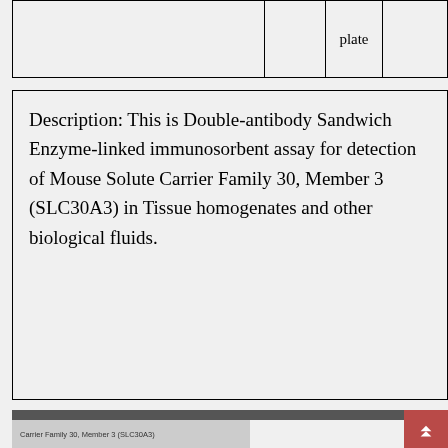|  |  | plate |  |
| --- | --- | --- | --- |
|  |  | plate |  |
| Description: This is Double-antibody Sandwich Enzyme-linked immunosorbent assay for detection of Mouse Solute Carrier Family 30, Member 3 (SLC30A3) in Tissue homogenates and other biological fluids. |
[Figure (screenshot): Bottom navigation bar with dark gray header strip, gray content area showing 'Carrier Family 30, Member 3 (SLC30A3)' label, and a red scroll-to-top button with chevron arrows on the right.]